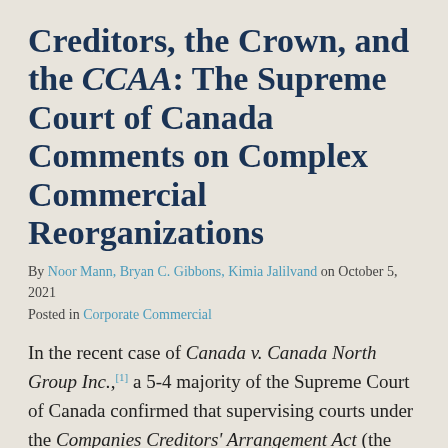Creditors, the Crown, and the CCAA: The Supreme Court of Canada Comments on Complex Commercial Reorganizations
By Noor Mann, Bryan C. Gibbons, Kimia Jalilvand on October 5, 2021
Posted in Corporate Commercial
In the recent case of Canada v. Canada North Group Inc.,[1] a 5-4 majority of the Supreme Court of Canada confirmed that supervising courts under the Companies Creditors' Arrangement Act (the "CCAA") have the discretion to grant restructuring charges ("Priming Charges") priority over the